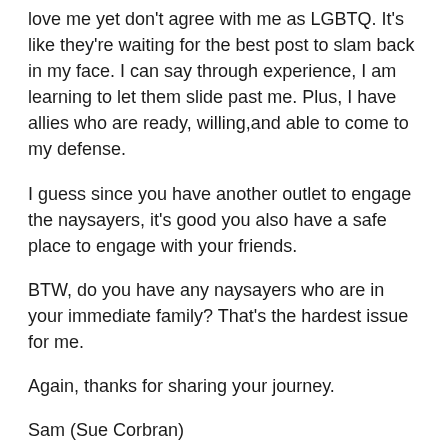love me yet don’t agree with me as LGBTQ. It’s like they’re waiting for the best post to slam back in my face. I can say through experience, I am learning to let them slide past me. Plus, I have allies who are ready, willing,and able to come to my defense.
I guess since you have another outlet to engage the naysayers, it’s good you also have a safe place to engage with your friends.
BTW, do you have any naysayers who are in your immediate family? That’s the hardest issue for me.
Again, thanks for sharing your journey.
Sam (Sue Corbran)